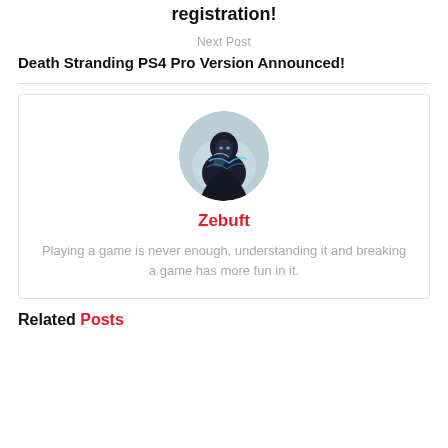registration!
Next Post
Death Stranding PS4 Pro Version Announced!
[Figure (photo): Circular avatar image of user Zebuft, showing a dark fantasy character in blue-lit armor]
Zebuft
Playing a game is never enough, understanding it and breaking a game has more fun in it.
Related Posts